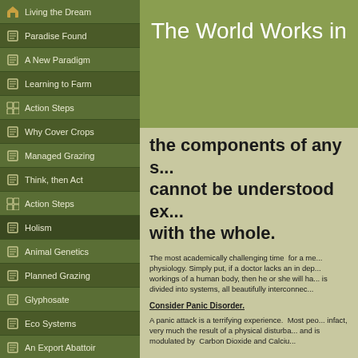Living the Dream
Paradise Found
A New Paradigm
Learning to Farm
Action Steps
Why Cover Crops
Managed Grazing
Think, then Act
Action Steps
Holism
Animal Genetics
Planned Grazing
Glyphosate
Eco Systems
An Export Abattoir
The World Works in
the components of any s... cannot be understood ex... with the whole.
The most academically challenging time  for a me... physiology. Simply put, if a doctor lacks an in dep... workings of a human body, then he or she will ha... is divided into systems, all beautifully interconnec...
Consider Panic Disorder.
A panic attack is a terrifying experience. Most peo... infact, very much the result of a physical disturba... and is modulated by  Carbon Dioxide and Calciu...